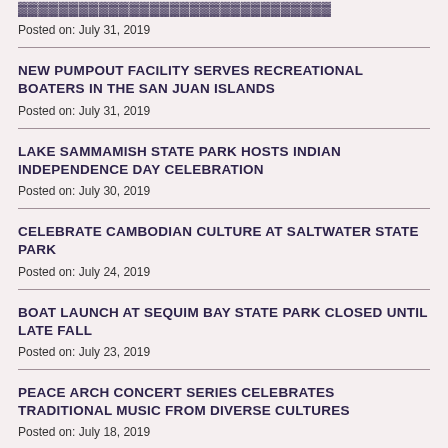[partial title cut off at top]
Posted on: July 31, 2019
NEW PUMPOUT FACILITY SERVES RECREATIONAL BOATERS IN THE SAN JUAN ISLANDS
Posted on: July 31, 2019
LAKE SAMMAMISH STATE PARK HOSTS INDIAN INDEPENDENCE DAY CELEBRATION
Posted on: July 30, 2019
CELEBRATE CAMBODIAN CULTURE AT SALTWATER STATE PARK
Posted on: July 24, 2019
BOAT LAUNCH AT SEQUIM BAY STATE PARK CLOSED UNTIL LATE FALL
Posted on: July 23, 2019
PEACE ARCH CONCERT SERIES CELEBRATES TRADITIONAL MUSIC FROM DIVERSE CULTURES
Posted on: July 18, 2019